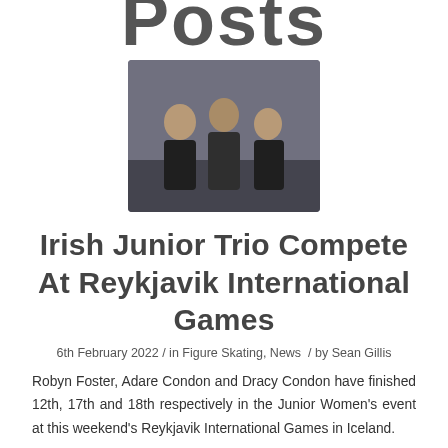Posts
[Figure (photo): Three people posing together indoors, likely at an ice rink facility]
Irish Junior Trio Compete At Reykjavik International Games
6th February 2022 / in Figure Skating, News / by Sean Gillis
Robyn Foster, Adare Condon and Dracy Condon have finished 12th, 17th and 18th respectively in the Junior Women's event at this weekend's Reykjavik International Games in Iceland.
Foster was the first of the Irish skaters to perform in the